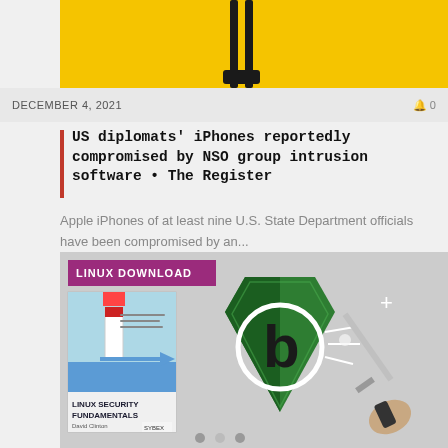[Figure (photo): Top portion of an article card with yellow background showing legs/feet silhouette]
DECEMBER 4, 2021
0
US diplomats' iPhones reportedly compromised by NSO group intrusion software • The Register
Apple iPhones of at least nine U.S. State Department officials have been compromised by an...
[Figure (illustration): Linux Download promotional image with green security shield featuring Bitdefender logo, a book titled Linux Security Fundamentals, and a sword/hand illustration on grey background with LINUX DOWNLOAD badge]